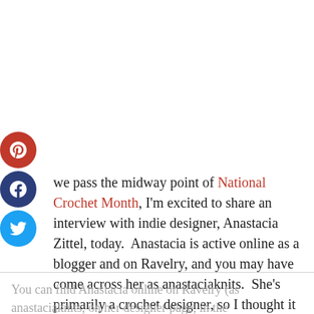[Figure (infographic): Three social media share buttons stacked vertically: Pinterest (red circle with P icon), Facebook (dark blue circle with f icon), Twitter (light blue circle with bird icon)]
we pass the midway point of National Crochet Month, I'm excited to share an interview with indie designer, Anastacia Zittel, today.  Anastacia is active online as a blogger and on Ravelry, and you may have come across her as anastaciaknits.  She's primarily a crochet designer, so I thought it appropriate to interview her during NatCroMo!
You can find Anastacia online on Ravelry (as anastaciaknits, on her designer page, in the